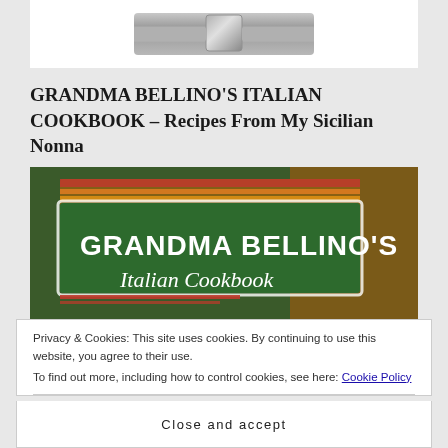[Figure (photo): Close-up of a metal watch buckle or clasp, silver/stainless steel, partially visible at top of page]
GRANDMA BELLINO'S ITALIAN COOKBOOK – Recipes From My Sicilian Nonna
[Figure (photo): Book cover of Grandma Bellino's Italian Cookbook showing bold white and italic text on a green banner with red and yellow decorative stripes on a textured background]
Privacy & Cookies: This site uses cookies. By continuing to use this website, you agree to their use.
To find out more, including how to control cookies, see here: Cookie Policy
Close and accept